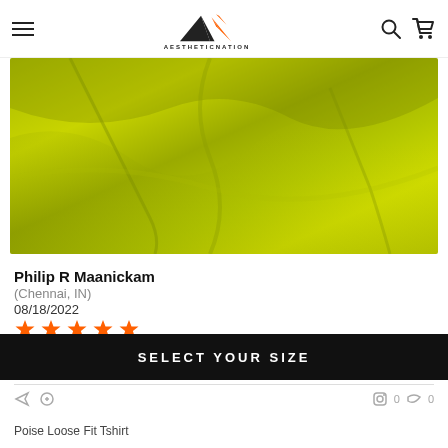AESTHETICNATION
[Figure (photo): Close-up photo of yellow-green fabric or textile with folds and creases]
Philip R Maanickam
(Chennai, IN)
08/18/2022
★★★★★ (5 stars, orange)
Good job
SELECT YOUR SIZE
Poise Loose Fit Tshirt